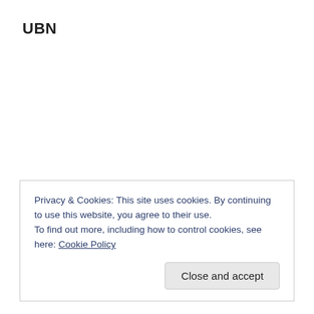UBN
Privacy & Cookies: This site uses cookies. By continuing to use this website, you agree to their use.
To find out more, including how to control cookies, see here: Cookie Policy
Close and accept